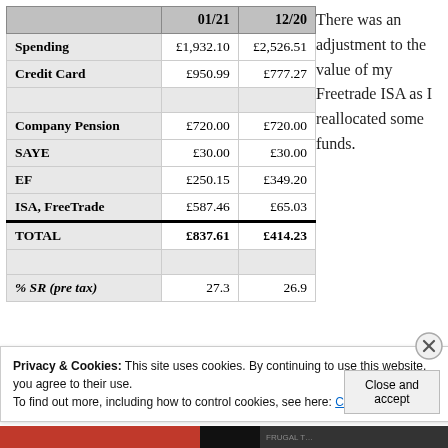|  | 01/21 | 12/20 |
| --- | --- | --- |
| Spending | £1,932.10 | £2,526.51 |
| Credit Card | £950.99 | £777.27 |
|  |  |  |
| Company Pension | £720.00 | £720.00 |
| SAYE | £30.00 | £30.00 |
| EF | £250.15 | £349.20 |
| ISA, FreeTrade | £587.46 | £65.03 |
| TOTAL | £837.61 | £414.23 |
|  |  |  |
| % SR (pre tax) | 27.3 | 26.9 |
There was an adjustment to the value of my Freetrade ISA as I reallocated some funds.
Privacy & Cookies: This site uses cookies. By continuing to use this website, you agree to their use. To find out more, including how to control cookies, see here: Cookie Policy